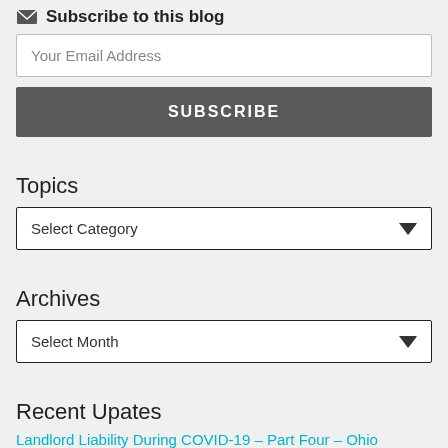Subscribe to this blog
Your Email Address
SUBSCRIBE
Topics
Select Category
Archives
Select Month
Recent Upates
Landlord Liability During COVID-19 – Part Four – Ohio COVID-19 Legislation